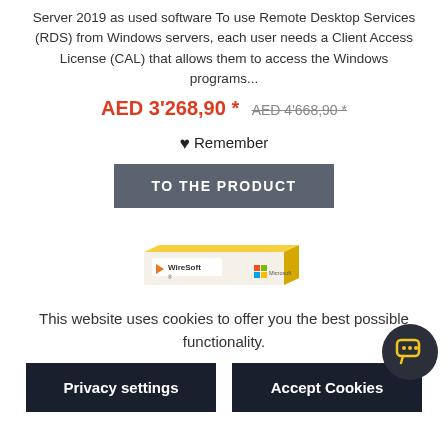Server 2019 as used software To use Remote Desktop Services (RDS) from Windows servers, each user needs a Client Access License (CAL) that allows them to access the Windows programs...
AED 3'268,90 * AED 4'668,90 *
♥ Remember
TO THE PRODUCT
[Figure (photo): Product box image showing WireSoft and Microsoft logos with yellow/orange packaging]
This website uses cookies to offer you the best possible functionality.
Privacy settings
Accept Cookies